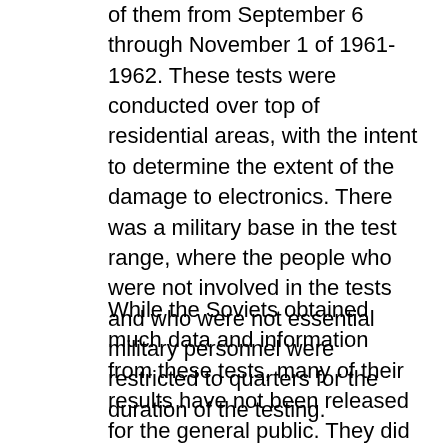of them from September 6 through November 1 of 1961-1962. These tests were conducted over top of residential areas, with the intent to determine the extent of the damage to electronics. There was a military base in the test range, where the people who were not involved in the tests and who were not essential military personnel were restricted to quarters for the duration of the testing.
While the Soviets obtained much data and information from these tests, many of their results have not been released for the general public. They did make known what damage was experienced, which included telephone line disconnections, radio satellite damage, power generators broken, transformers burning, long line problems, and more.